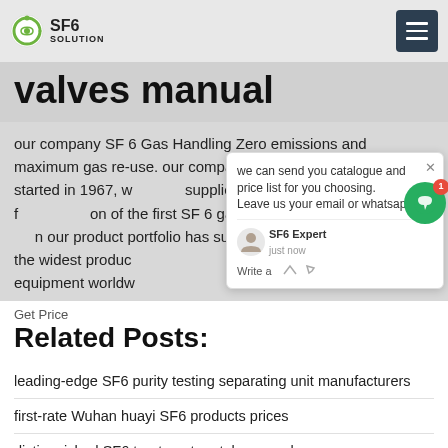SF6 SOLUTION
valves manual
our company SF 6 Gas Handling Zero emissions and maximum gas re-use. our company's path in SF 6 gas handling started in 1967, when we supplied a complete piping system for installation of the first SF 6 gas insulated switchgear. Since then, our product portfolio has successively been developed to the widest product range of emission-free gas handling equipment worldwide.
Get Price
Related Posts:
leading-edge SF6 purity testing separating unit manufacturers
first-rate Wuhan huayi SF6 products prices
distinguished SF6 treatment rentals manual